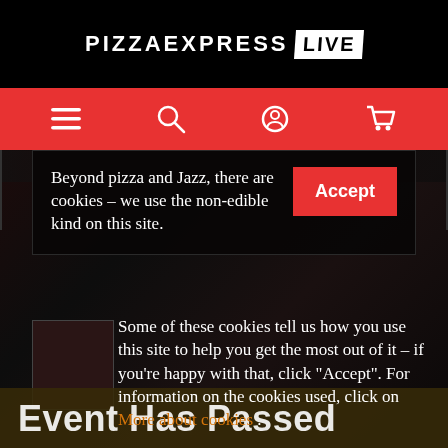PIZZAEXPRESS LIVE
[Figure (screenshot): Red navigation bar with hamburger menu, search, user account, and shopping cart icons]
Beyond pizza and Jazz, there are cookies – we use the non-edible kind on this site. Some of these cookies tell us how you use this site to help you get the most out of it – if you're happy with that, click "Accept". For information on the cookies used, click on More about cookies .
Event Has Passed